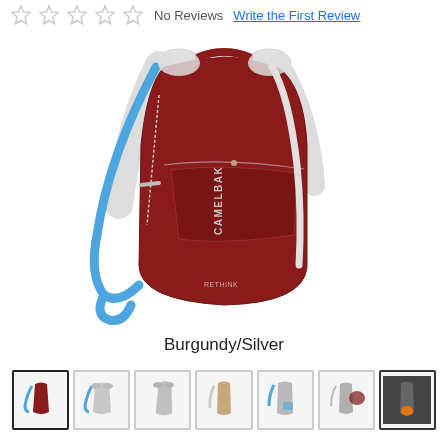No Reviews   Write the First Review
[Figure (photo): CamelBak hydration backpack in Burgundy/Silver color, showing the pack with blue hydration tube and white shoulder straps]
Burgundy/Silver
[Figure (photo): Row of 7 product thumbnail images showing different views and colors of the CamelBak hydration backpack]